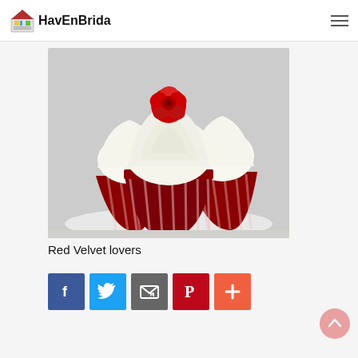HavEnBrida
[Figure (photo): Three red velvet cupcakes with white cream frosting and a red rose on top, in red and white striped cupcake liners, on a white plate.]
Red Velvet lovers
[Figure (infographic): Social sharing buttons: Facebook (blue), Twitter (light blue), Email (grey), Pinterest (red), More/Plus (orange-red)]